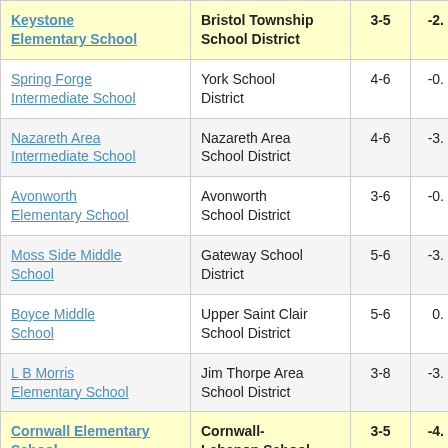| School | District | Grades | Score |
| --- | --- | --- | --- |
| Keystone Elementary School | Bristol Township School District | 3-5 | -2. |
| Spring Forge Intermediate School | York School District | 4-6 | -0. |
| Nazareth Area Intermediate School | Nazareth Area School District | 4-6 | -3. |
| Avonworth Elementary School | Avonworth School District | 3-6 | -0. |
| Moss Side Middle School | Gateway School District | 5-6 | -3. |
| Boyce Middle School | Upper Saint Clair School District | 5-6 | 0. |
| L B Morris Elementary School | Jim Thorpe Area School District | 3-8 | -3. |
| Cornwall Elementary School | Cornwall-Lebanon School District | 3-5 | -4. |